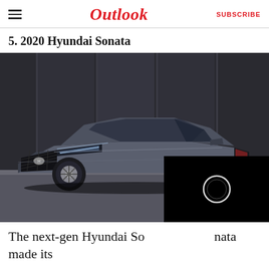Outlook  SUBSCRIBE
5. 2020 Hyundai Sonata
[Figure (photo): 2020 Hyundai Sonata sedan in dark grey/blue, parked in front of a glass building facade. A black video player overlay appears in the bottom-right corner of the image with a circular loading/play icon.]
The next-gen Hyundai Sonata made its